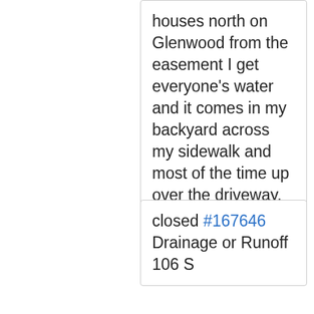houses north on Glenwood from the easement I get everyone's water and it comes in my backyard across my sidewalk and most of the time up over the driveway.
closed #167646 Drainage or Runoff 106 S